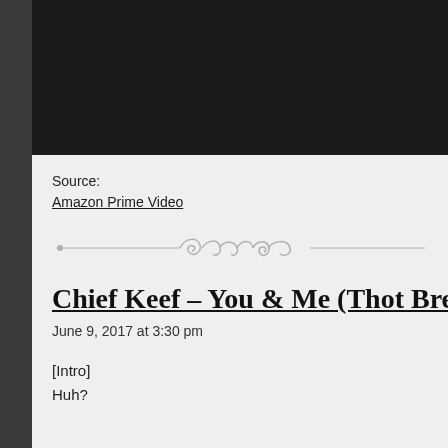[Figure (screenshot): Black video player area at top of page]
Source:
Amazon Prime Video
[Figure (illustration): Decorative horizontal divider with ornamental scroll design]
Chief Keef – You & Me (Thot Brea...
June 9, 2017 at 3:30 pm
[Intro]
Huh?